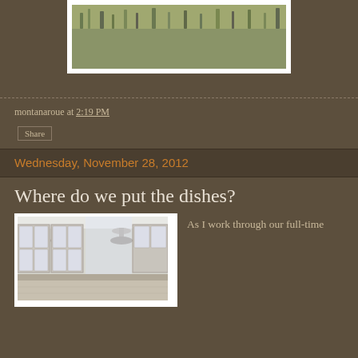[Figure (photo): Partial top of a framed photograph showing dry grassy/shrubby landscape or dune vegetation against a brown background]
montanaroue at 2:19 PM
Share
Wednesday, November 28, 2012
Where do we put the dishes?
[Figure (photo): Kitchen interior with pendant lights and glass-front cabinets, partially visible]
As I work through our full-time